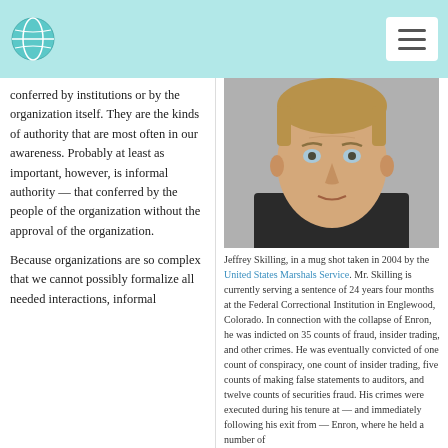[Navigation bar with globe logo and menu icon]
conferred by institutions or by the organization itself. They are the kinds of authority that are most often in our awareness. Probably at least as important, however, is informal authority — that conferred by the people of the organization without the approval of the organization.
Because organizations are so complex that we cannot possibly formalize all needed interactions, informal
[Figure (photo): Mug shot photograph of Jeffrey Skilling taken in 2004, a middle-aged man with light brown hair wearing a dark jacket]
Jeffrey Skilling, in a mug shot taken in 2004 by the United States Marshals Service. Mr. Skilling is currently serving a sentence of 24 years four months at the Federal Correctional Institution in Englewood, Colorado. In connection with the collapse of Enron, he was indicted on 35 counts of fraud, insider trading, and other crimes. He was eventually convicted of one count of conspiracy, one count of insider trading, five counts of making false statements to auditors, and twelve counts of securities fraud. His crimes were executed during his tenure at — and immediately following his exit from — Enron, where he held a number of